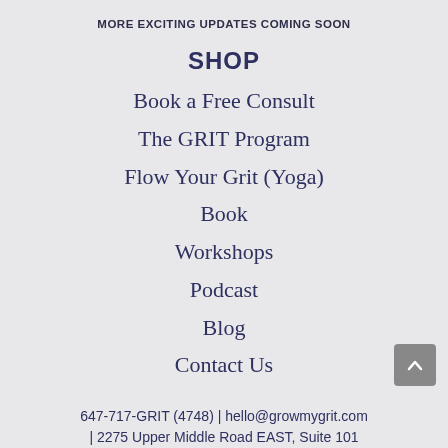MORE EXCITING UPDATES COMING SOON
SHOP
Book a Free Consult
The GRIT Program
Flow Your Grit (Yoga)
Book
Workshops
Podcast
Blog
Contact Us
647-717-GRIT (4748) | hello@growmygrit.com | 2275 Upper Middle Road EAST, Suite 101